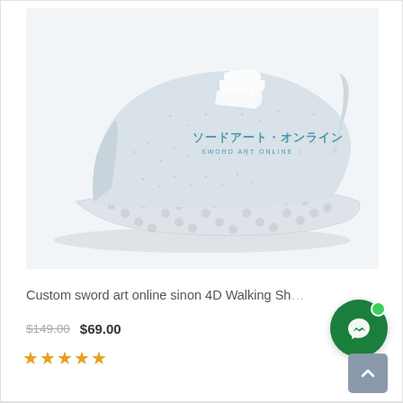[Figure (photo): Custom sword art online sinon 4D Walking Shoe - a white/light grey knitted athletic shoe with a 3D-printed lattice sole and Japanese text branding on the side reading ソードアート・オンライン (Sword Art Online)]
Custom sword art online sinon 4D Walking Sh...
$149.00 $69.00
★★★★★